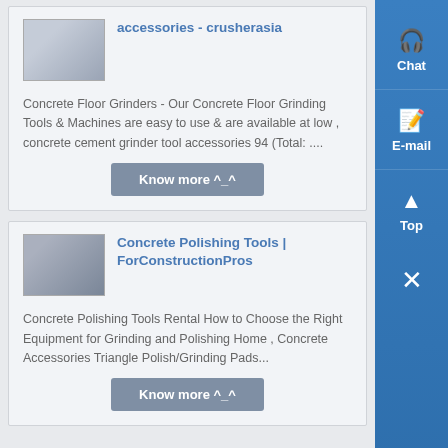accessories - crusherasia
Concrete Floor Grinders - Our Concrete Floor Grinding Tools & Machines are easy to use & are available at low , concrete cement grinder tool accessories 94 (Total: ....
Know more ^_^
[Figure (photo): Thumbnail photo of concrete grinding equipment]
Concrete Polishing Tools | ForConstructionPros
Concrete Polishing Tools Rental How to Choose the Right Equipment for Grinding and Polishing Home , Concrete Accessories Triangle Polish/Grinding Pads...
Know more ^_^
[Figure (photo): Thumbnail photo of industrial equipment for concrete polishing]